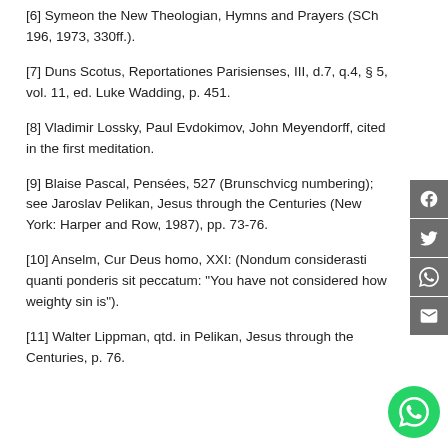[6] Symeon the New Theologian, Hymns and Prayers (SCh 196, 1973, 330ff.).
[7] Duns Scotus, Reportationes Parisienses, III, d.7, q.4, § 5, vol. 11, ed. Luke Wadding, p. 451.
[8] Vladimir Lossky, Paul Evdokimov, John Meyendorff, cited in the first meditation.
[9] Blaise Pascal, Pensées, 527 (Brunschvicg numbering); see Jaroslav Pelikan, Jesus through the Centuries (New York: Harper and Row, 1987), pp. 73-76.
[10] Anselm, Cur Deus homo, XXI: (Nondum considerasti quanti ponderis sit peccatum: "You have not considered how weighty sin is").
[11] Walter Lippman, qtd. in Pelikan, Jesus through the Centuries, p. 76.